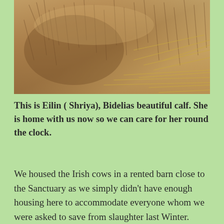[Figure (photo): Close-up photo of a calf (Eilin/Shriya) with brown/tan fur lying in hay]
This is Eilin ( Shriya), Bidelias beautiful calf. She is home with us now so we can care for her round the clock.
We housed the Irish cows in a rented barn close to the Sanctuary as we simply didn't have enough housing here to accommodate everyone whom we were asked to save from slaughter last Winter. Nothing beats the security and comfort of being at Hugletts